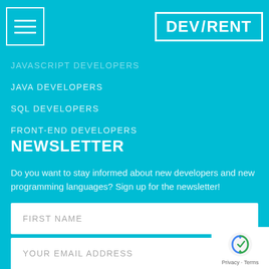DEV/RENT
JAVASCRIPT DEVELOPERS
JAVA DEVELOPERS
SQL DEVELOPERS
FRONT-END DEVELOPERS
NEWSLETTER
Do you want to stay informed about new developers and new programming languages? Sign up for the newsletter!
FIRST NAME
LAST NAME
YOUR EMAIL ADDRESS